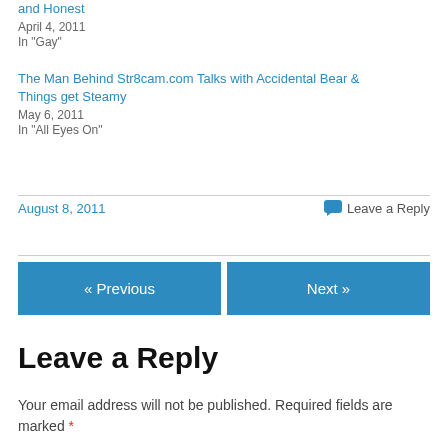and Honest
April 4, 2011
In "Gay"
The Man Behind Str8cam.com Talks with Accidental Bear & Things get Steamy
May 6, 2011
In "All Eyes On"
August 8, 2011
Leave a Reply
« Previous
Next »
Leave a Reply
Your email address will not be published. Required fields are marked *